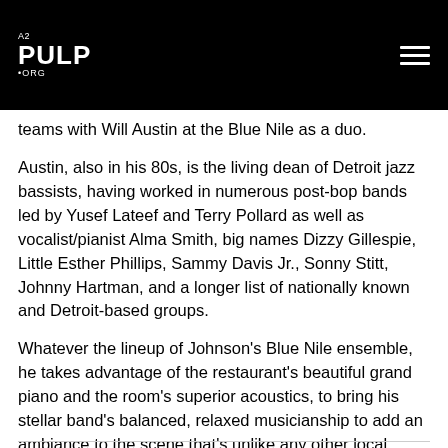A2 PULP .ORG
teams with Will Austin at the Blue Nile as a duo.
Austin, also in his 80s, is the living dean of Detroit jazz bassists, having worked in numerous post-bop bands led by Yusef Lateef and Terry Pollard as well as vocalist/pianist Alma Smith, big names Dizzy Gillespie, Little Esther Phillips, Sammy Davis Jr., Sonny Stitt, Johnny Hartman, and a longer list of nationally known and Detroit-based groups.
Whatever the lineup of Johnson's Blue Nile ensemble, he takes advantage of the restaurant's beautiful grand piano and the room's superior acoustics, to bring his stellar band's balanced, relaxed musicianship to add an ambiance to the scene that's unlike any other local eatery, even rivaling that of The Earle.